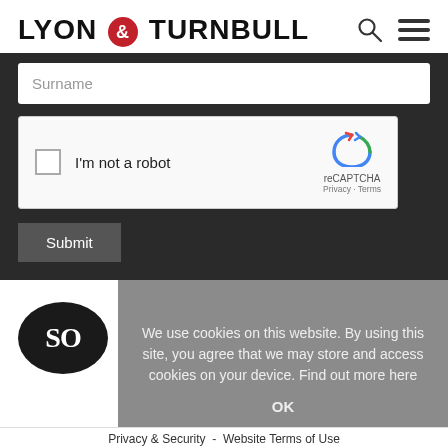[Figure (logo): Lyon & Turnbull logo with ampersand in red circle]
[Figure (screenshot): Search and menu icons in header]
Surname
[Figure (screenshot): reCAPTCHA widget with checkbox and I'm not a robot label]
Submit
[Figure (logo): Sotheby's oval logo with SO text visible]
We use cookies on this website. By using this site, you agree that we may store and access cookies on your device. Find out more here
OK
Privacy & Security  -  Website Terms of Use